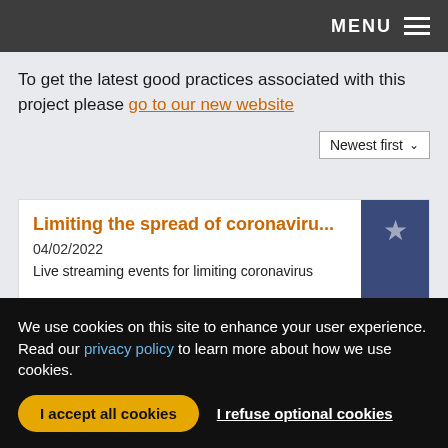MENU
To get the latest good practices associated with this project please go to our new website
Newest first
Limiting the spread of coronaviru...
04/02/2022
Live streaming events for limiting coronavirus
We use cookies on this site to enhance your user experience. Read our privacy policy to learn more about how we use cookies.
I accept all cookies
I refuse optional cookies